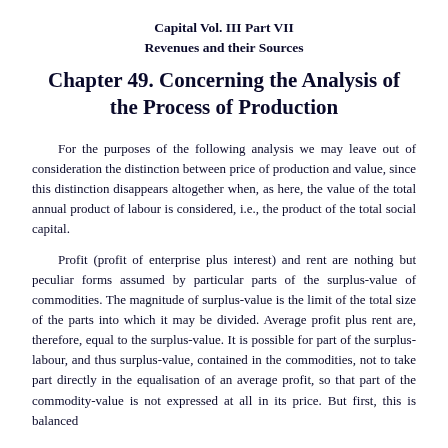Capital Vol. III Part VII
Revenues and their Sources
Chapter 49. Concerning the Analysis of the Process of Production
For the purposes of the following analysis we may leave out of consideration the distinction between price of production and value, since this distinction disappears altogether when, as here, the value of the total annual product of labour is considered, i.e., the product of the total social capital.
Profit (profit of enterprise plus interest) and rent are nothing but peculiar forms assumed by particular parts of the surplus-value of commodities. The magnitude of surplus-value is the limit of the total size of the parts into which it may be divided. Average profit plus rent are, therefore, equal to the surplus-value. It is possible for part of the surplus-labour, and thus surplus-value, contained in the commodities, not to take part directly in the equalisation of an average profit, so that part of the commodity-value is not expressed at all in its price. But first, this is balanced